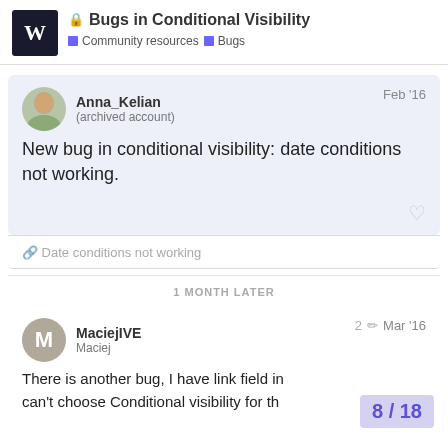Bugs in Conditional Visibility — Community resources / Bugs
Anna_Kelian (archived account) — Feb '16
New bug in conditional visibility: date conditions not working.
🔗 Date conditions not working
1 MONTH LATER
MaciejIVE Maciej — 2 ✏ Mar '16
There is another bug, I have link field in can't choose Conditional visibility for th
8 / 18